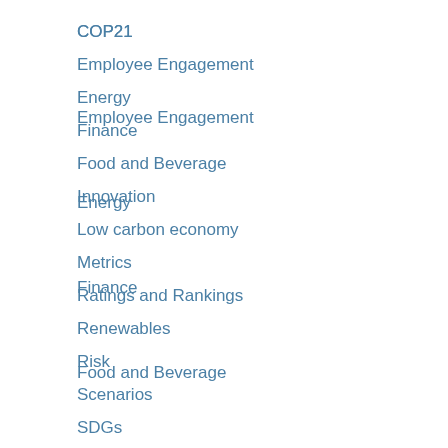COP21
Employee Engagement
Energy
Finance
Food and Beverage
Innovation
Low carbon economy
Metrics
Ratings and Rankings
Renewables
Risk
Scenarios
SDGs